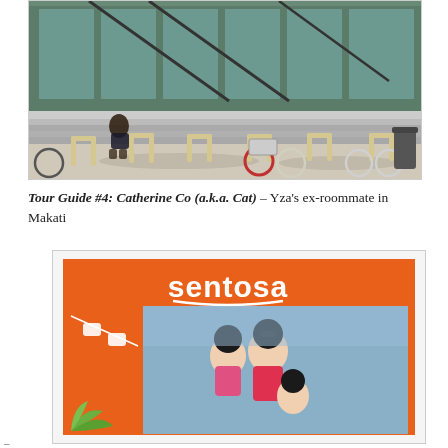[Figure (photo): Outdoor bicycle parking area with metal U-shaped racks in front of a modern building with glass facade and stairs. A person sits on the steps in the background. Several bicycles are parked including one with a basket.]
Tour Guide #4: Catherine Co (a.k.a. Cat) – Yza's ex-roommate in Makati
[Figure (photo): Sentosa island branded photo booth or display frame in orange with white 'sentosa' logo and cable car illustrations. Two people (a child and an adult with sunglasses) are visible in the photo frame.]